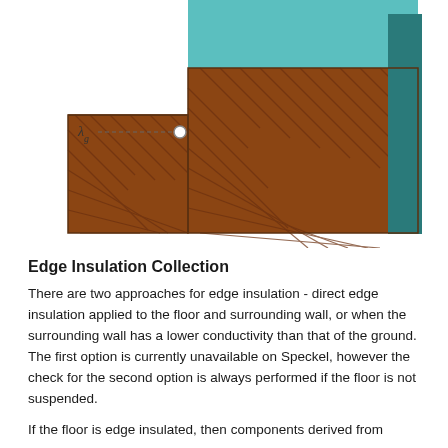[Figure (schematic): Engineering diagram showing edge insulation detail: a teal/cyan rectangular slab (floor) sitting on top of a brown hatched ground mass, with a dark teal vertical edge insulation element along the right side extending down into the ground. A lambda-g label with dashed line and circle pointer indicates the ground conductivity in the left area.]
Edge Insulation Collection
There are two approaches for edge insulation - direct edge insulation applied to the floor and surrounding wall, or when the surrounding wall has a lower conductivity than that of the ground. The first option is currently unavailable on Speckel, however the check for the second option is always performed if the floor is not suspended.
If the floor is edge insulated, then components derived from